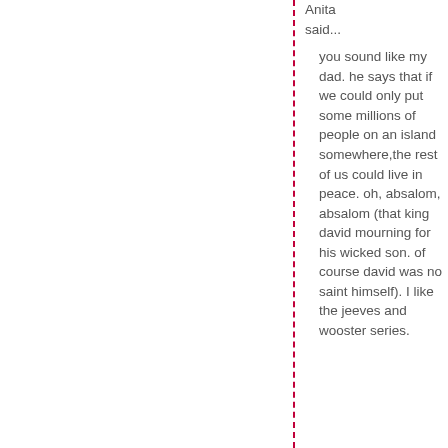Anita said...
you sound like my dad. he says that if we could only put some millions of people on an island somewhere,the rest of us could live in peace. oh, absalom, absalom (that king david mourning for his wicked son. of course david was no saint himself). I like the jeeves and wooster series.